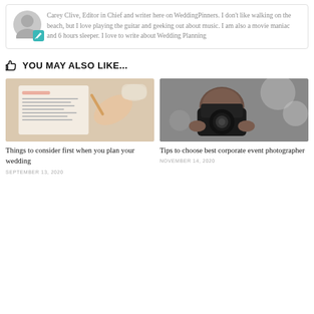Carey Clive, Editor in Chief and writer here on WeddingPinners. I don't like walking on the beach, but I love playing the guitar and geeking out about music. I am also a movie maniac and 6 hours sleeper. I love to write about Wedding Planning
YOU MAY ALSO LIKE...
[Figure (photo): Photo of a wedding checklist/planner with a hand writing with a pen, pink stapler, and a cup in background]
Things to consider first when you plan your wedding
SEPTEMBER 13, 2020
[Figure (photo): Photo of a person holding a camera up to their face, photographing at an event with bokeh background]
Tips to choose best corporate event photographer
NOVEMBER 14, 2020